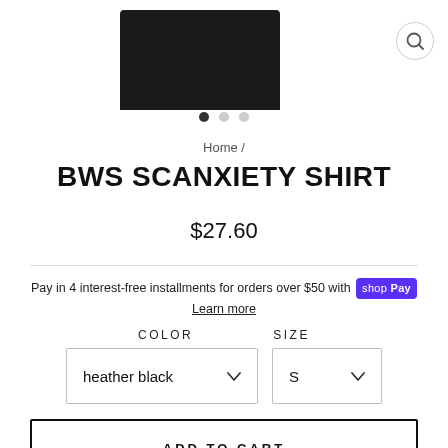[Figure (photo): Black shirt product image shown at top of page, partially cropped. A magnifying glass icon is in the upper right corner.]
• ○ ○  (image carousel dots)
Home /
BWS SCANXIETY SHIRT
$27.60
Pay in 4 interest-free installments for orders over $50 with shop Pay
Learn more
COLOR   SIZE
heather black ∨   S ∨
ADD TO CART